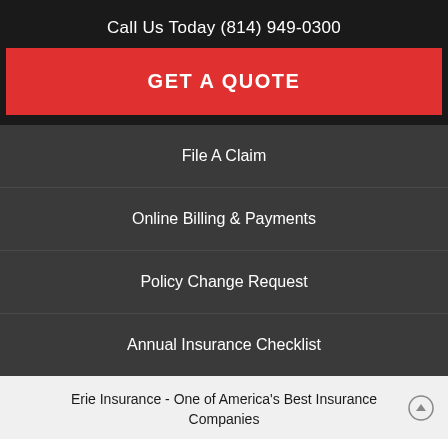Call Us Today (814) 949-0300
GET A QUOTE
File A Claim
Online Billing & Payments
Policy Change Request
Annual Insurance Checklist
Erie Insurance - One of America's Best Insurance Companies